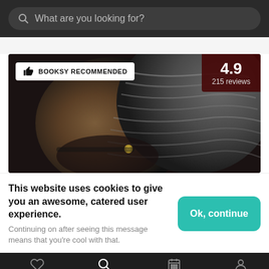What are you looking for?
[Figure (photo): Close-up photo of a man's head showing braided/wave hairstyle with a fade cut, beard, and gold earring. Overlaid with 'BOOKSY RECOMMENDED' badge (white, top-left) and rating badge '4.9 / 215 reviews' (dark red, top-right).]
This website uses cookies to give you an awesome, catered user experience.
Continuing on after seeing this message means that you're cool with that.
Your Booksy | Explore | Appointments | Profile